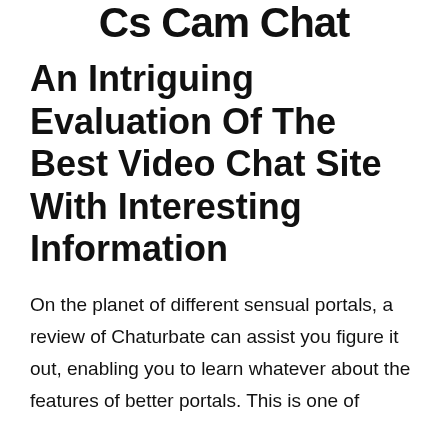Cs Cam Chat
An Intriguing Evaluation Of The Best Video Chat Site With Interesting Information
On the planet of different sensual portals, a review of Chaturbate can assist you figure it out, enabling you to learn whatever about the features of better portals. This is one of